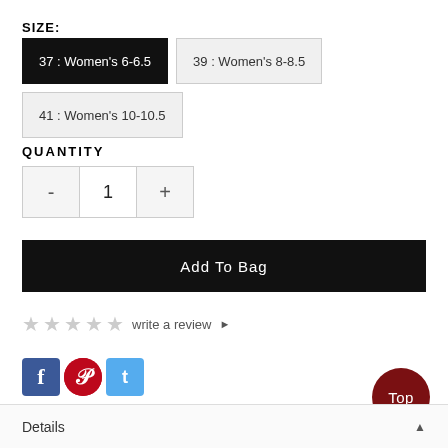SIZE:
37 : Women's 6-6.5 (selected)
39 : Women's 8-8.5
41 : Women's 10-10.5
QUANTITY
- 1 +
Add To Bag
★★★★★ write a review ▶
[Figure (illustration): Social media icons: Facebook (blue), Pinterest (red), Twitter (light blue)]
Top
Details ▲